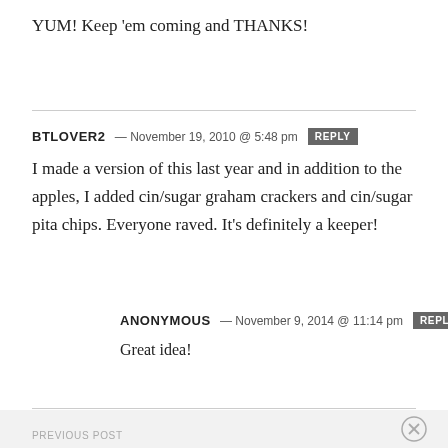YUM! Keep 'em coming and THANKS!
BTLOVER2 — November 19, 2010 @ 5:48 pm REPLY
I made a version of this last year and in addition to the apples, I added cin/sugar graham crackers and cin/sugar pita chips. Everyone raved. It's definitely a keeper!
ANONYMOUS — November 9, 2014 @ 11:14 pm REPLY
Great idea!
PREVIOUS POST